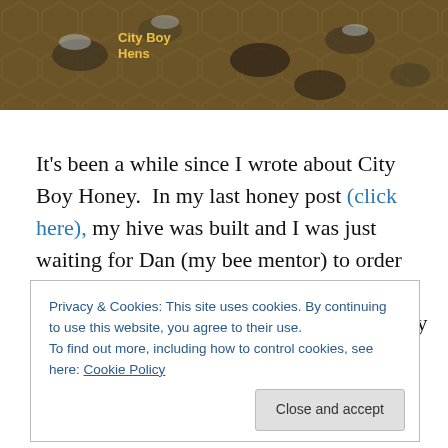[Figure (photo): Header banner photo of honeybees on honeycomb with yellow text overlay reading 'City Boy Hens']
It's been a while since I wrote about City Boy Honey.  In my last honey post (click here), my hive was built and I was just waiting for Dan (my bee mentor) to order my Queen.  For those of you who are familiar with bee keeping, you are definitely thinking that we are really late
Privacy & Cookies: This site uses cookies. By continuing to use this website, you agree to their use.
To find out more, including how to control cookies, see here: Cookie Policy
Nature was not too interested in giving up her arsenal of